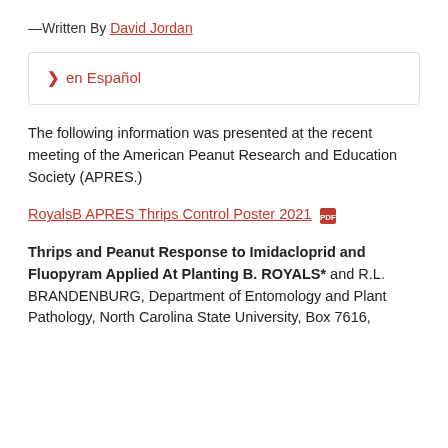—Written By David Jordan
> en Español
The following information was presented at the recent meeting of the American Peanut Research and Education Society (APRES.)
RoyalsB APRES Thrips Control Poster 2021 [PDF icon]
Thrips and Peanut Response to Imidacloprid and Fluopyram Applied At Planting B. ROYALS* and R.L. BRANDENBURG, Department of Entomology and Plant Pathology, North Carolina State University, Box 7616,